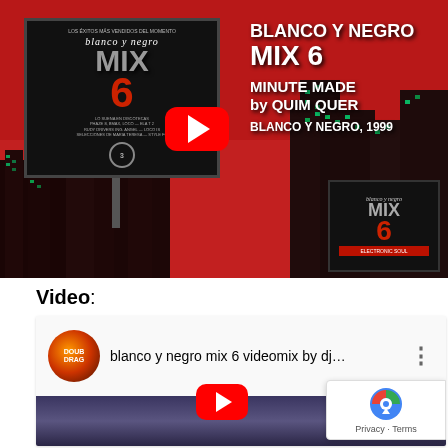[Figure (screenshot): YouTube video thumbnail showing Blanco y Negro Mix 6 album art with billboard graphic, city skyline background, and YouTube play button. Text reads: BLANCO Y NEGRO MIX 6, MINUTE MADE by QUIM QUER, BLANCO Y NEGRO, 1999]
Video:
[Figure (screenshot): Embedded YouTube video player showing 'blanco y negro mix 6 videomix by dj...' with channel icon, video title bar, and red play button. reCAPTCHA Privacy - Terms badge visible.]